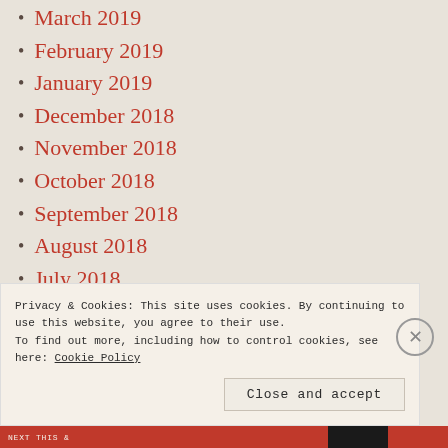March 2019
February 2019
January 2019
December 2018
November 2018
October 2018
September 2018
August 2018
July 2018
June 2018
May 2018
Privacy & Cookies: This site uses cookies. By continuing to use this website, you agree to their use.
To find out more, including how to control cookies, see here: Cookie Policy
Close and accept